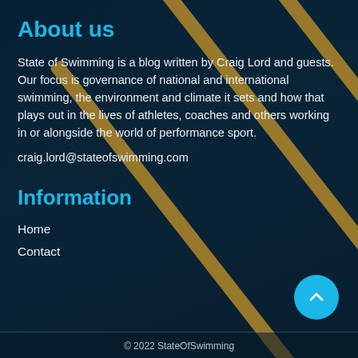About us
State of Swimming is a blog written by Craig Lord and guests. Our focus is governance of national and international swimming, the environment and climate it sets and how that plays out in the lives of athletes, coaches and others working in or alongside the world of performance sport.
craig.lord@stateofswimming.com
Information
Home
Contact
[Figure (illustration): Scroll-to-top button: cyan circle with upward chevron arrow]
© 2022 StateOfSwimming